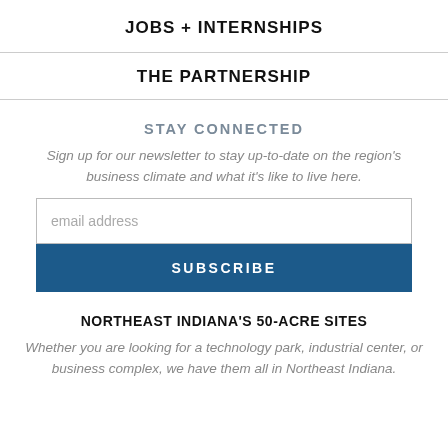JOBS + INTERNSHIPS
THE PARTNERSHIP
STAY CONNECTED
Sign up for our newsletter to stay up-to-date on the region's business climate and what it's like to live here.
NORTHEAST INDIANA'S 50-ACRE SITES
Whether you are looking for a technology park, industrial center, or business complex, we have them all in Northeast Indiana.